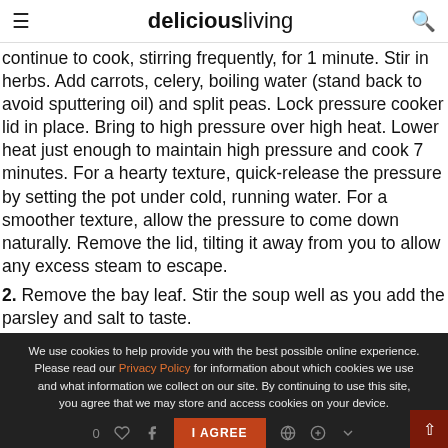deliciousliving
continue to cook, stirring frequently, for 1 minute. Stir in herbs. Add carrots, celery, boiling water (stand back to avoid sputtering oil) and split peas. Lock pressure cooker lid in place. Bring to high pressure over high heat. Lower heat just enough to maintain high pressure and cook 7 minutes. For a hearty texture, quick-release the pressure by setting the pot under cold, running water. For a smoother texture, allow the pressure to come down naturally. Remove the lid, tilting it away from you to allow any excess steam to escape.
2. Remove the bay leaf. Stir the soup well as you add the parsley and salt to taste.
We use cookies to help provide you with the best possible online experience. Please read our Privacy Policy for information about which cookies we use and what information we collect on our site. By continuing to use this site, you agree that we may store and access cookies on your device.